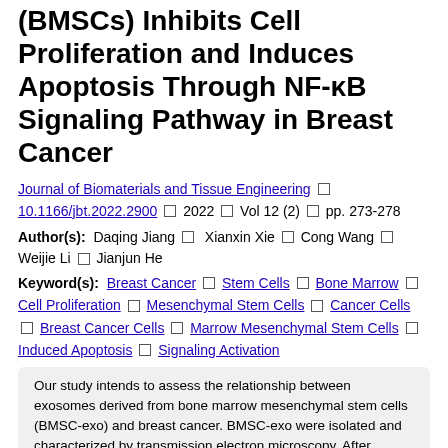Bone Marrow Mesenchymal Stem Cells (BMSCs) Inhibits Cell Proliferation and Induces Apoptosis Through NF-κB Signaling Pathway in Breast Cancer
Journal of Biomaterials and Tissue Engineering □ 10.1166/jbt.2022.2900 □ 2022 □ Vol 12 (2) □ pp. 273-278
Author(s): Daqing Jiang □ Xianxin Xie □ Cong Wang □ Weijie Li □ Jianjun He
Keyword(s): Breast Cancer □ Stem Cells □ Bone Marrow □ Cell Proliferation □ Mesenchymal Stem Cells □ Cancer Cells □ Breast Cancer Cells □ Marrow Mesenchymal Stem Cells □ Induced Apoptosis □ Signaling Activation
Our study intends to assess the relationship between exosomes derived from bone marrow mesenchymal stem cells (BMSC-exo) and breast cancer. BMSC-exo were isolated and characterized by transmission electron microscopy. After transfection of BMSCs with miR-204 inhibitor, breast cancer